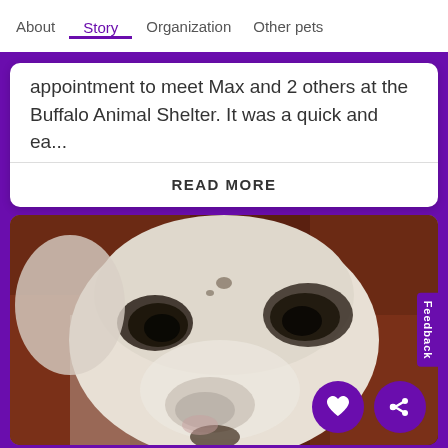About   Story   Organization   Other pets
appointment to meet Max and 2 others at the Buffalo Animal Shelter. It was a quick and ea...
READ MORE
[Figure (photo): Close-up photo of a white bulldog or boxer-type dog with dark markings around eyes, resting its head down, on a brown/red textured surface]